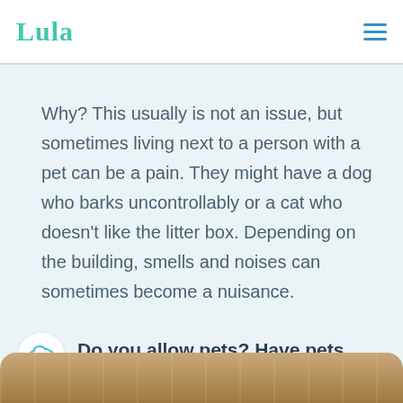Lula
Why? This usually is not an issue, but sometimes living next to a person with a pet can be a pain. They might have a dog who barks uncontrollably or a cat who doesn't like the litter box. Depending on the building, smells and noises can sometimes become a nuisance.
Do you allow pets? Have pets lived in this unit before?
[Figure (photo): Bottom strip showing a wooden surface or flooring, partially visible at the bottom of the page]